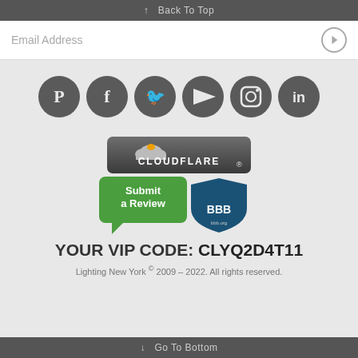↑ Back To Top
Email Address
[Figure (infographic): Six social media icons in circles: Pinterest, Facebook, Twitter, YouTube, Instagram, LinkedIn]
[Figure (logo): Cloudflare badge with cloud logo and CLOUDFLARE text]
[Figure (logo): BBB Submit a Review badge with Better Business Bureau shield logo]
YOUR VIP CODE: CLYQ2D4T11
Lighting New York © 2009 – 2022. All rights reserved.
↓ Go To Bottom